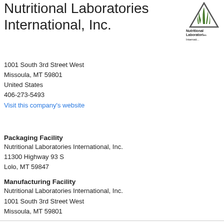Nutritional Laboratories International, Inc.
[Figure (logo): Nutritional Laboratories International logo with plant/triangle graphic]
1001 South 3rd Street West
Missoula, MT 59801
United States
406-273-5493
Visit this company's website
Packaging Facility
Nutritional Laboratories International, Inc.
11300 Highway 93 S
Lolo, MT 59847
Manufacturing Facility
Nutritional Laboratories International, Inc.
1001 South 3rd Street West
Missoula, MT 59801
Distribution/Warehouse Facility
Nutritional Laboratories International, Inc.
5811 Sandpiper Drive
Missoula, MT 59808